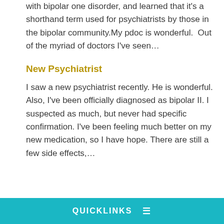with bipolar one disorder, and learned that it's a shorthand term used for psychiatrists by those in the bipolar community.My pdoc is wonderful.  Out of the myriad of doctors I've seen…
New Psychiatrist
I saw a new psychiatrist recently. He is wonderful. Also, I've been officially diagnosed as bipolar II. I suspected as much, but never had specific confirmation. I've been feeling much better on my new medication, so I have hope. There are still a few side effects,…
QUICKLINKS ≡